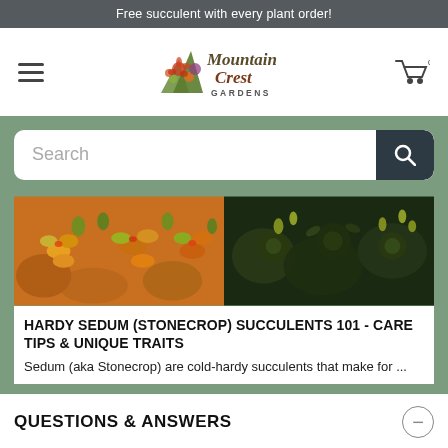Free succulent with every plant order!
[Figure (logo): Mountain Crest Gardens logo with colorful succulent illustration and stylized text]
Search
[Figure (photo): Two photos of succulent plants side by side: left shows orange/yellow/green stonecrop succulents, right shows dark green succulents with yellow flowers]
HARDY SEDUM (STONECROP) SUCCULENTS 101 - CARE TIPS & UNIQUE TRAITS
Sedum (aka Stonecrop) are cold-hardy succulents that make for ...
QUESTIONS & ANSWERS